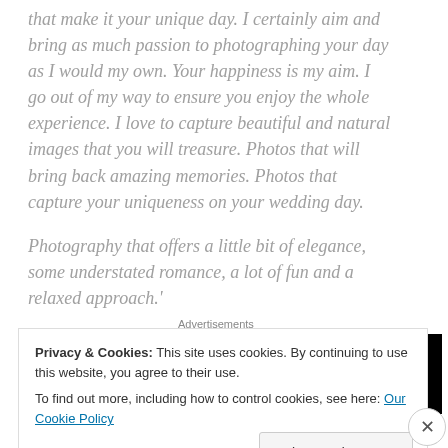that make it your unique day. I certainly aim and bring as much passion to photographing your day as I would my own. Your happiness is my aim. I go out of my way to ensure you enjoy the whole experience. I love to capture beautiful and natural images that you will treasure. Photos that will bring back amazing memories. Photos that capture your uniqueness on your wedding day.
Photography that offers a little bit of elegance, some understated romance, a lot of fun and a relaxed approach.'
[Figure (other): Advertisements banner — black background with WordPress logo (white circle with W) on the right side]
Privacy & Cookies: This site uses cookies. By continuing to use this website, you agree to their use.
To find out more, including how to control cookies, see here: Our Cookie Policy